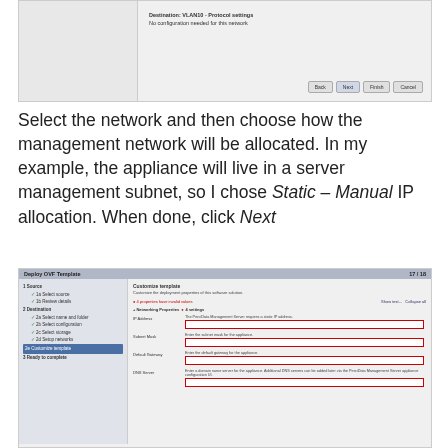[Figure (screenshot): Top portion of Deploy OVF Template wizard showing Destination VLAN10 - Protocol settings with 'No configuration needed for this network' message, and Back/Next/Finish/Cancel buttons]
Select the network and then choose how the management network will be allocated. In my example, the appliance will live in a server management subnet, so I chose Static – Manual IP allocation. When done, click Next
[Figure (screenshot): Deploy OVF Template wizard - Customize template step. Shows left navigation panel with steps 1 Source, 2 Destination, 3 Ready to complete, with '2e Customize template' highlighted. Right panel shows Customize template with Networking Properties section expanded showing 4 settings: IP Address, Subnet Mask, Default Gateway, DNS Server fields with red borders indicating required input.]